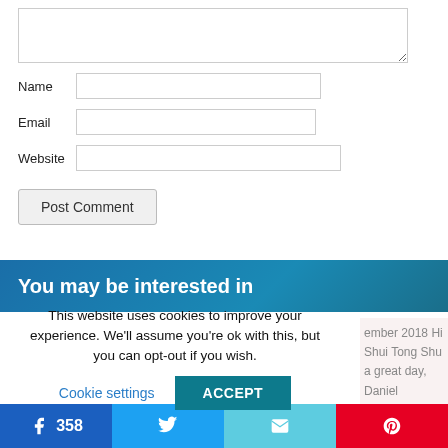Name
Email
Website
Post Comment
You may be interested in
This website uses cookies to improve your experience. We'll assume you're ok with this, but you can opt-out if you wish.
Cookie settings
ACCEPT
ember 2018 Hi Shui Tong Shu a great day, Daniel his is a powerful date
358